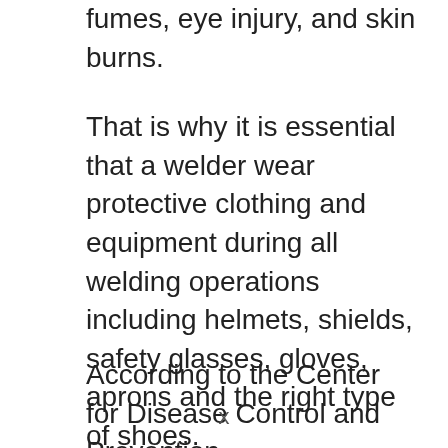fumes, eye injury, and skin burns.
That is why it is essential that a welder wear protective clothing and equipment during all welding operations including helmets, shields, safety glasses, gloves, aprons and the right type of shoes.
According to the Center for Disease Control and Prevention